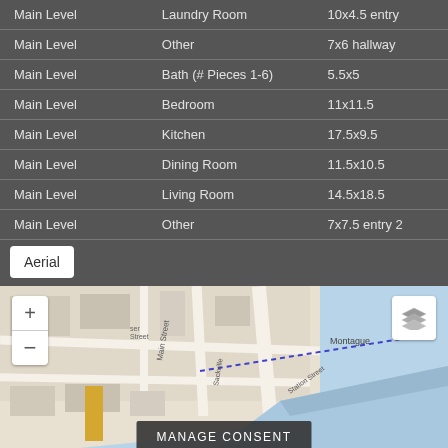| Level | Room Type | Dimensions |
| --- | --- | --- |
| Main Level | Laundry Room | 10x4.5 entry |
| Main Level | Other | 7x6 hallway |
| Main Level | Bath (# Pieces 1-6) | 5.5x5 |
| Main Level | Bedroom | 11x11.5 |
| Main Level | Kitchen | 17.5x9.5 |
| Main Level | Dining Room | 11.5x10.5 |
| Main Level | Living Room | 14.5x18.5 |
| Main Level | Other | 7x7.5 entry 2 |
[Figure (map): Street map showing area near Main Street, Sackville Street, Station Street, near Montague waterfront area. Map includes zoom controls (+/-) and layer toggle button. A 'MANAGE CONSENT' banner overlays the bottom center.]